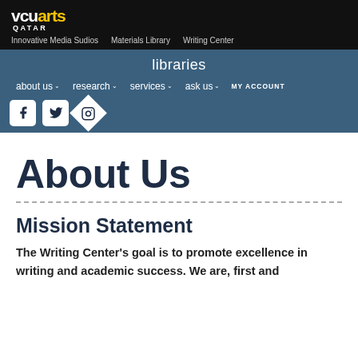vcu arts QATAR — Innovative Media Sudios | Materials Library | Writing Center
libraries
about us  research  services  ask us  MY ACCOUNT
About Us
Mission Statement
The Writing Center's goal is to promote excellence in writing and academic success. We are, first and